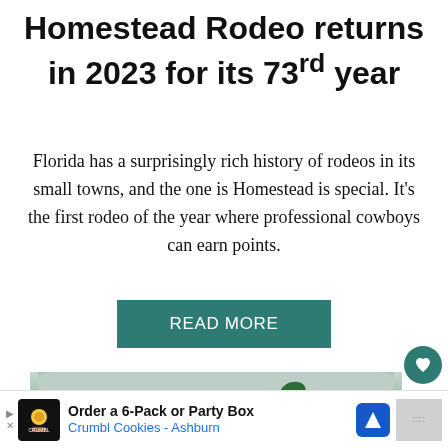Homestead Rodeo returns in 2023 for its 73rd year
Florida has a surprisingly rich history of rodeos in its small towns, and the one is Homestead is special. It's the first rodeo of the year where professional cowboys can earn points.
[Figure (other): Teal 'READ MORE' button]
[Figure (photo): Outdoor scene with tents and palm trees under a cloudy sky]
[Figure (other): Advertisement banner: 'Order a 6-Pack or Party Box / Crumbl Cookies - Ashburn' with cookie icon and navigation arrow icon]